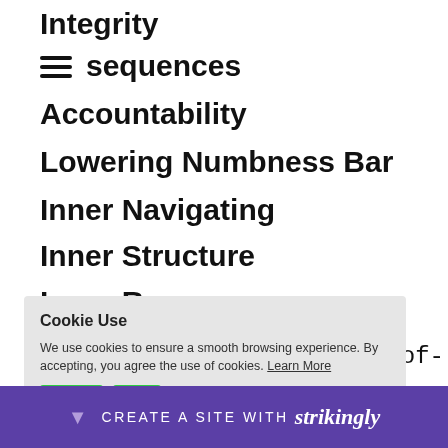Integrity
≡ sequences
Accountability
Lowering Numbness Bar
Inner Navigating
Inner Structure
Inner Resources
Radical Responsibility
Radical Simplicity
Nonmaterial Value
Archearchy Economics
Cookie Use
We use cookies to ensure a smooth browsing experience. By accepting, you agree the use of cookies. Learn More
-called 'rule-of-lization'
nstruct
leadin
r-
CREATE A SITE WITH strikingly